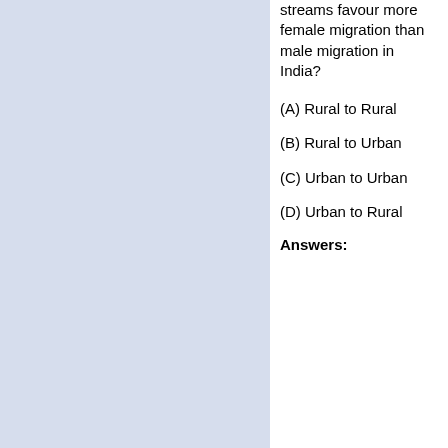streams favour more female migration than male migration in India?
(A) Rural to Rural
(B) Rural to Urban
(C) Urban to Urban
(D) Urban to Rural
Answers: